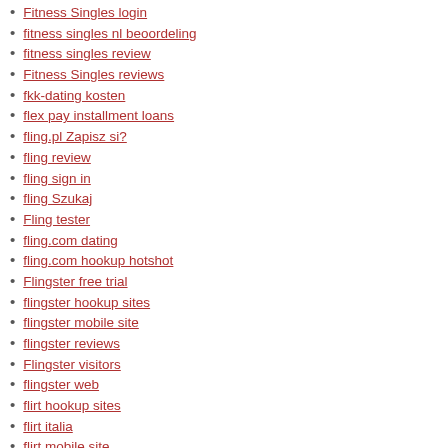Fitness Singles login
fitness singles nl beoordeling
fitness singles review
Fitness Singles reviews
fkk-dating kosten
flex pay installment loans
fling.pl Zapisz si?
fling review
fling sign in
fling Szukaj
Fling tester
fling.com dating
fling.com hookup hotshot
Flingster free trial
flingster hookup sites
flingster mobile site
flingster reviews
Flingster visitors
flingster web
flirt hookup sites
flirt italia
flirt mobile site
Flirt review
flirt reviews
Flirt search